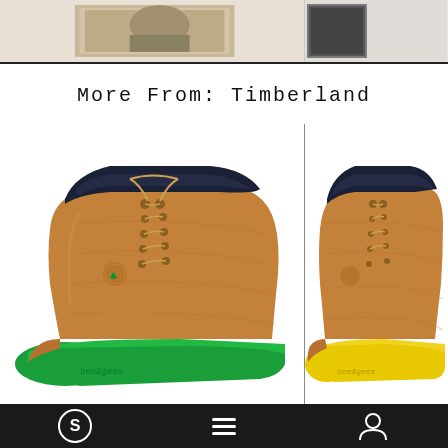[Figure (photo): Top strip showing partial product/lifestyle images cropped at top of page]
More From: Timberland
[Figure (photo): Timberland boot with tan leather upper, dark navy collar, and bright green sole/toe cap - left product]
[Figure (photo): Timberland boot with tan leather upper, dark navy collar, and bright yellow sole/toe cap - right product]
[Figure (screenshot): Bottom navigation bar with S logo icon, hamburger menu icon, and user profile icon on dark background]